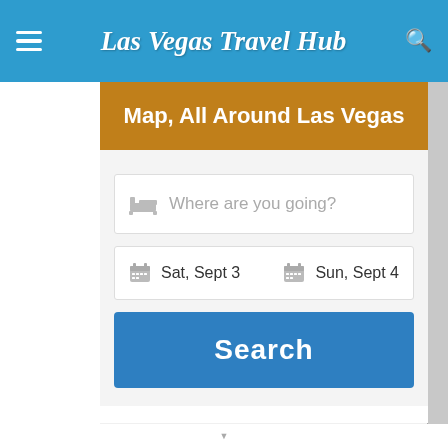Las Vegas Travel Hub
Map, All Around Las Vegas
Where are you going?
Sat, Sept 3   Sun, Sept 4
Search